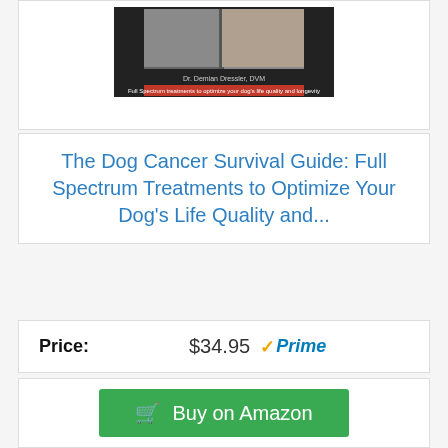[Figure (photo): Book cover of The Dog Cancer Survival Guide by Dr. Demian Dressler, DVM, showing two dogs and a red banner subtitle]
The Dog Cancer Survival Guide: Full Spectrum Treatments to Optimize Your Dog’s Life Quality and...
Price: $34.95 ✓Prime
Buy on Amazon
Bestseller No. 5
[Figure (photo): Book cover of The Dog Cancer Diet, showing three dogs eating from bowls]